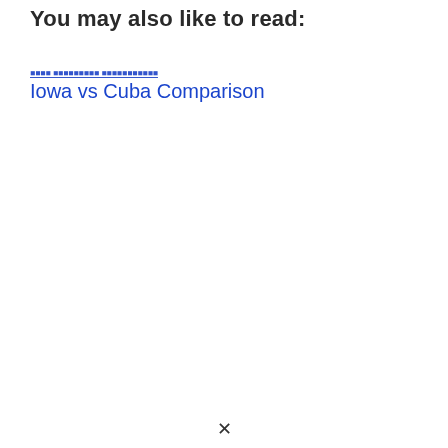You may also like to read:
Iowa vs Cuba Comparison